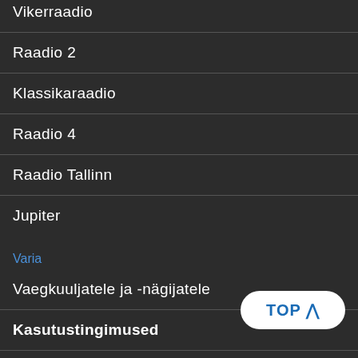Vikerraadio
Raadio 2
Klassikaraadio
Raadio 4
Raadio Tallinn
Jupiter
Varia
Vaegkuuljatele ja -nägijatele
Kasutustingimused
Isikuandmete töötlemisest
Lasteekraan